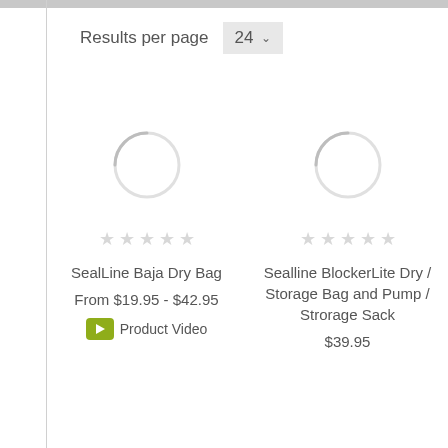Results per page  24
[Figure (screenshot): Loading spinner arc for product 1 (SealLine Baja Dry Bag)]
☆☆☆☆☆
SealLine Baja Dry Bag
From $19.95 - $42.95
▶ Product Video
[Figure (screenshot): Loading spinner arc for product 2 (Sealline BlockerLite Dry / Storage Bag and Pump / Strorage Sack)]
☆☆☆☆☆
Sealline BlockerLite Dry / Storage Bag and Pump / Strorage Sack
$39.95